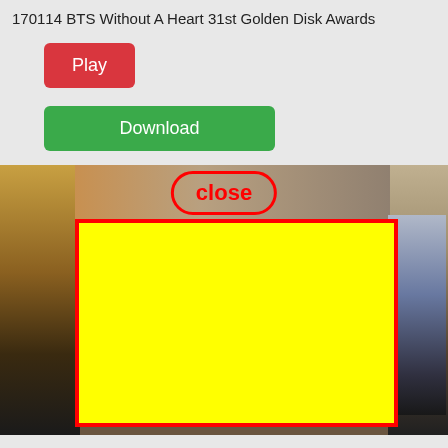170114 BTS Without A Heart 31st Golden Disk Awards
Play
Download
[Figure (screenshot): A webpage UI showing a Play button (red), a Download button (green), a 'close' button overlay in red on a photo. The photo shows a backstage or indoor scene. A large yellow rectangle with a red border overlays the center of the photo. A 'close' label in red bold text appears at the top center of the image area.]